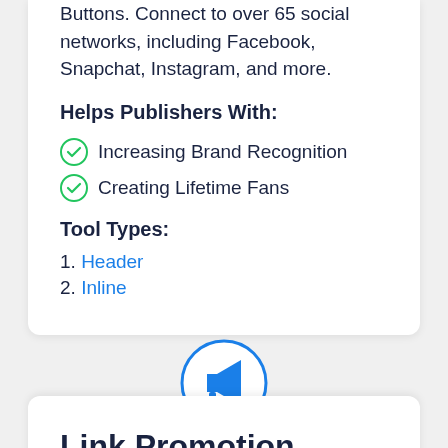Buttons. Connect to over 65 social networks, including Facebook, Snapchat, Instagram, and more.
Helps Publishers With:
Increasing Brand Recognition
Creating Lifetime Fans
Tool Types:
1. Header
2. Inline
[Figure (illustration): Blue megaphone icon inside a blue circle outline, centered between two card sections]
Link Promotion